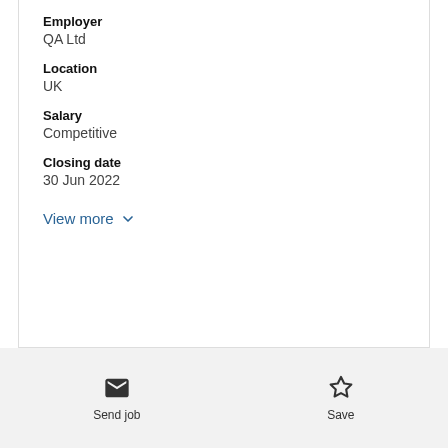Employer
QA Ltd
Location
UK
Salary
Competitive
Closing date
30 Jun 2022
View more
Send job
Save